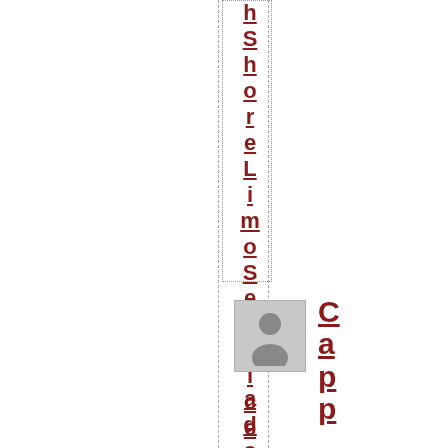hShoreLinoService (vertical, partial — top portion cut off)
[Figure (photo): Placeholder profile photo silhouette in gray square]
Capp (vertical text alongside profile image)
adocia (vertical, partial — bottom portion cut off)